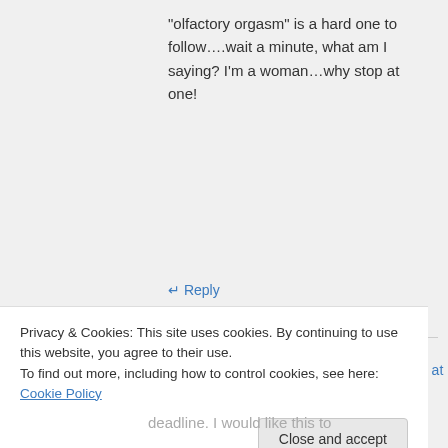“olfactory orgasm” is a hard one to follow….wait a minute, what am I saying? I’m a woman…why stop at one!
↵ Reply
Jordan River on November 18, 2013 at 3:27 pm
Exactly! Shall we now try for
Privacy & Cookies: This site uses cookies. By continuing to use this website, you agree to their use. To find out more, including how to control cookies, see here: Cookie Policy
Close and accept
deadline. I would like this to